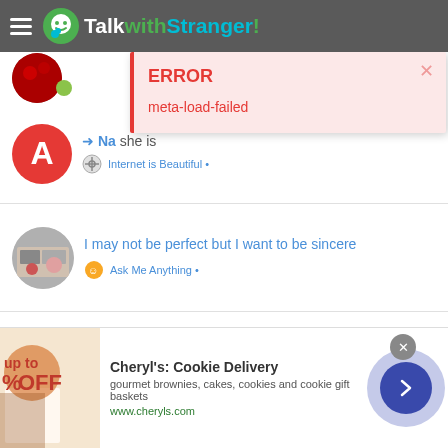TalkwithStranger!
[Figure (screenshot): Error popup overlay showing ERROR header and meta-load-failed message on pink background]
I may not be perfect but I want to be sincere — Ask Me Anything •
I want to meet someone special around Australia — Find Your Lost Friends & Chat Partners •
[Figure (infographic): Advertisement banner for Cheryl's Cookie Delivery — gourmet brownies, cakes, cookies and cookie gift baskets — www.cheryls.com]